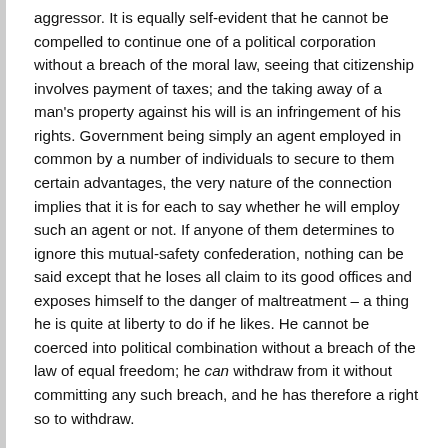aggressor. It is equally self-evident that he cannot be compelled to continue one of a political corporation without a breach of the moral law, seeing that citizenship involves payment of taxes; and the taking away of a man's property against his will is an infringement of his rights. Government being simply an agent employed in common by a number of individuals to secure to them certain advantages, the very nature of the connection implies that it is for each to say whether he will employ such an agent or not. If anyone of them determines to ignore this mutual-safety confederation, nothing can be said except that he loses all claim to its good offices and exposes himself to the danger of maltreatment – a thing he is quite at liberty to do if he likes. He cannot be coerced into political combination without a breach of the law of equal freedom; he can withdraw from it without committing any such breach, and he has therefore a right so to withdraw.
§ 2. "No human laws are of any validity if contrary to the law of nature; and such of them as are valid derive all their force and all their authority mediately or immediately from this original." Thus writes Blackstone, to whom let all honor be given for having so far outseen the ideas of his time and, indeed, we may say of our time. A good antidote, this, for those political superstitions which so widely prevail. A good check upon that sentiment of power worship